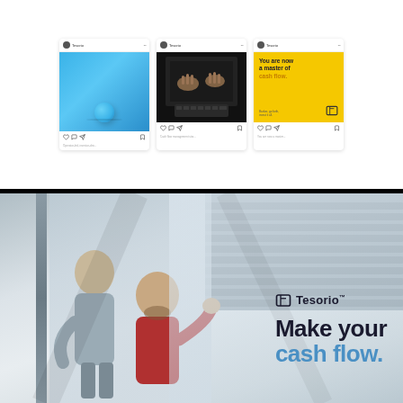[Figure (screenshot): Three Instagram post mockups showing Tesorio social media content: a blue sphere photo, a laptop typing photo, and a yellow card with text 'You are now a master of cash flow.']
[Figure (photo): Tesorio brand advertisement showing two people in a business setting with overlay text 'Make your cash flow.' and the Tesorio logo. Industrial/modern building background.]